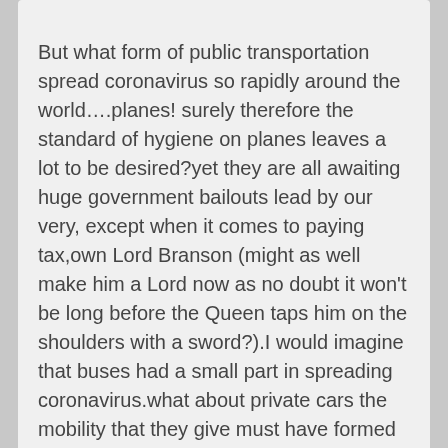But what form of public transportation spread coronavirus so rapidly around the world….planes! surely therefore the standard of hygiene on planes leaves a lot to be desired?yet they are all awaiting huge government bailouts lead by our very, except when it comes to paying tax,own Lord Branson (might as well make him a Lord now as no doubt it won't be long before the Queen taps him on the shoulders with a sword?).I would imagine that buses had a small part in spreading coronavirus.what about private cars the mobility that they give must have formed a major vector in the spread and still is.
★ Like
stevieinselby
April 13, 2020 at 6:38 am
Replacing buses with taxis is unlikely to work out